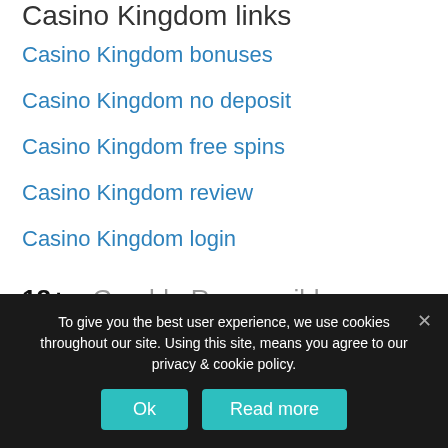Casino Kingdom links
Casino Kingdom bonuses
Casino Kingdom no deposit
Casino Kingdom free spins
Casino Kingdom review
Casino Kingdom login
18+
Gamble Responsibly
To give you the best user experience, we use cookies throughout our site. Using this site, means you agree to our privacy & cookie policy.